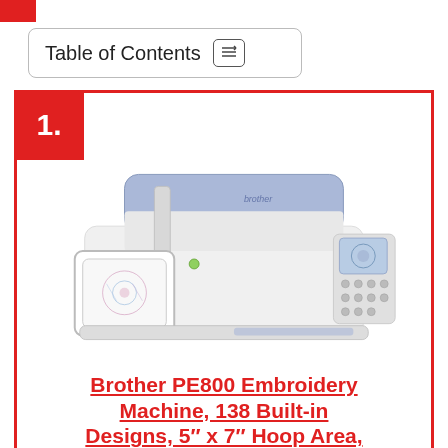Table of Contents
[Figure (photo): Brother PE800 embroidery sewing machine with a large embroidery hoop attached, white and light blue/lavender body, touchscreen display on right side, product photo on white background.]
Brother PE800 Embroidery Machine, 138 Built-in Designs, 5" x 7" Hoop Area,